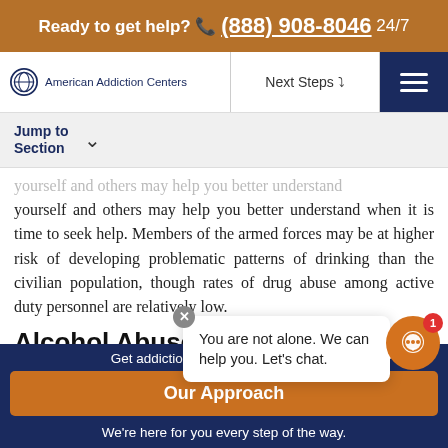Ready to get help? (888) 908-8046 24/7
American Addiction Centers | Next Steps | Menu
Jump to Section
yourself and others may help you better understand when it is time to seek help. Members of the armed forces may be at higher risk of developing problematic patterns of drinking than the civilian population, though rates of drug abuse among active duty personnel are relatively low.
Alcohol Abuse
You are not alone. We can help you. Let's chat.
Get addiction help now (24/7 helpline)
Our Approach
We're here for you every step of the way.